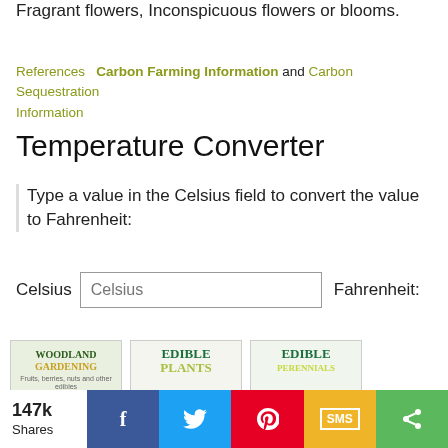Fragrant flowers, Inconspicuous flowers or blooms.
References   Carbon Farming Information and Carbon Sequestration Information
Temperature Converter
Type a value in the Celsius field to convert the value to Fahrenheit:
Celsius [Celsius input field]   Fahrenheit:
[Figure (illustration): Three book covers: Woodland Gardening, Edible Plants, and Edible Perennials]
147k Shares [Facebook] [Twitter] [Pinterest] [SMS] [Share]